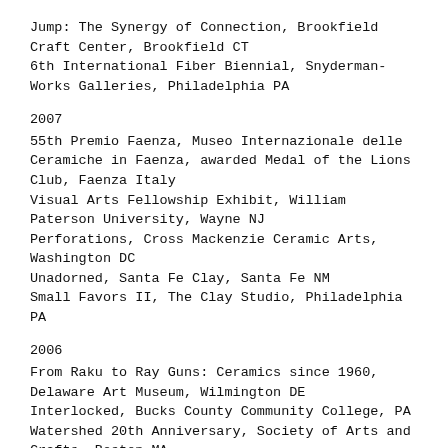Jump: The Synergy of Connection, Brookfield Craft Center, Brookfield CT
6th International Fiber Biennial, Snyderman-Works Galleries, Philadelphia PA
2007
55th Premio Faenza, Museo Internazionale delle Ceramiche in Faenza, awarded Medal of the Lions Club, Faenza Italy
Visual Arts Fellowship Exhibit, William Paterson University, Wayne NJ
Perforations, Cross Mackenzie Ceramic Arts, Washington DC
Unadorned, Santa Fe Clay, Santa Fe NM
Small Favors II, The Clay Studio, Philadelphia PA
2006
From Raku to Ray Guns: Ceramics since 1960, Delaware Art Museum, Wilmington DE
Interlocked, Bucks County Community College, PA
Watershed 20th Anniversary, Society of Arts and Crafts, Boston MA
Three Ceramists, Three Points of View, Art School at Old Church,